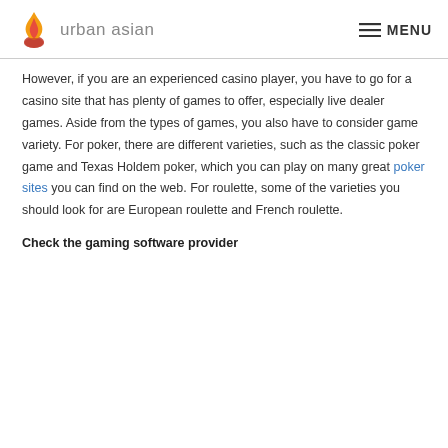urban asian  MENU
However, if you are an experienced casino player, you have to go for a casino site that has plenty of games to offer, especially live dealer games. Aside from the types of games, you also have to consider game variety. For poker, there are different varieties, such as the classic poker game and Texas Holdem poker, which you can play on many great poker sites you can find on the web. For roulette, some of the varieties you should look for are European roulette and French roulette.
Check the gaming software provider